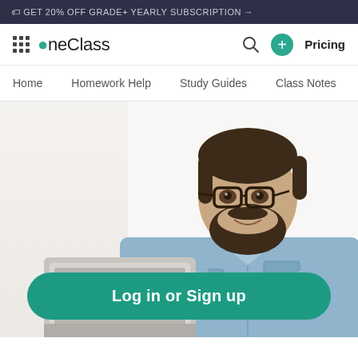🏷 GET 20% OFF GRADE+ YEARLY SUBSCRIPTION →
OneClass
Home  Homework Help  Study Guides  Class Notes  Textb
[Figure (photo): Bearded man with glasses wearing a denim shirt, holding a laptop, smiling at the camera on a white background]
Log in or Sign up